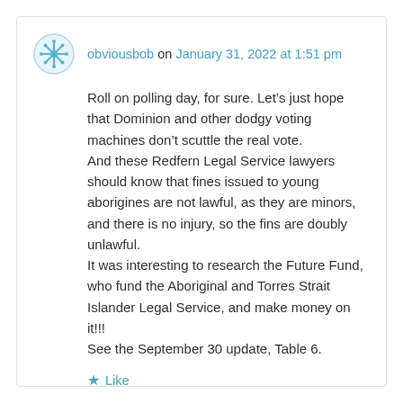obviousbob on January 31, 2022 at 1:51 pm
Roll on polling day, for sure. Let’s just hope that Dominion and other dodgy voting machines don’t scuttle the real vote.
And these Redfern Legal Service lawyers should know that fines issued to young aborigines are not lawful, as they are minors, and there is no injury, so the fins are doubly unlawful.
It was interesting to research the Future Fund, who fund the Aboriginal and Torres Strait Islander Legal Service, and make money on it!!!
See the September 30 update, Table 6.
★ Like